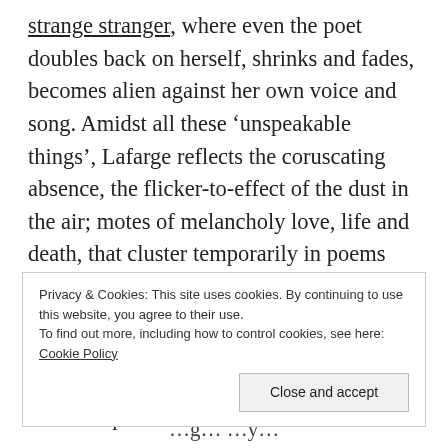strange stranger, where even the poet doubles back on herself, shrinks and fades, becomes alien against her own voice and song. Amidst all these ‘unspeakable things’, Lafarge reflects the coruscating absence, the flicker-to-effect of the dust in the air; motes of melancholy love, life and death, that cluster temporarily in poems and feel like a homecoming, yet always on the brink of becoming unsettled. Forever this ‘speech / impaired through contact / with the air’, the wrenching of justice from staunch aporia.
Privacy & Cookies: This site uses cookies. By continuing to use this website, you agree to their use. To find out more, including how to control cookies, see here: Cookie Policy
Close and accept